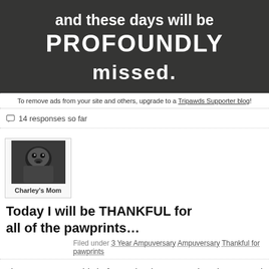[Figure (photo): Black sign with white text reading 'and these days will be PROFOUNDLY missed.' on a light background]
To remove ads from your site and others, upgrade to a Tripawds Supporter blog!
14 responses so far
[Figure (photo): Avatar image of a dog (Rottweiler) labeled Charley's Mom]
Today I will be THANKFUL for all of the pawprints…
Filed under 3 Year Ampuversary Ampuversary Thankful for pawprints
I have never seen this before today, but I LOVE it!   I just wanted to share…
[Figure (photo): Dark gray/charcoal sign with white bold text reading 'TODAY I will be THANKFUL']